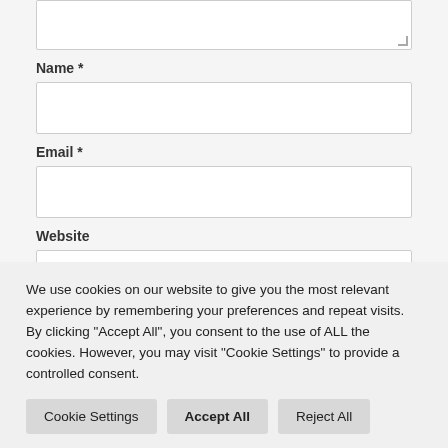[Figure (screenshot): Top portion of a web form showing a textarea (partially visible), Name field with input box, Email field with input box, and Website label with partial input box. Light gray background.]
We use cookies on our website to give you the most relevant experience by remembering your preferences and repeat visits. By clicking “Accept All”, you consent to the use of ALL the cookies. However, you may visit “Cookie Settings” to provide a controlled consent.
Cookie Settings | Accept All | Reject All